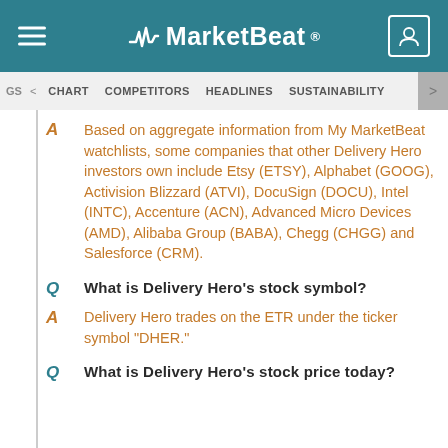MarketBeat
GS < CHART   COMPETITORS   HEADLINES   SUSTAINABILITY
A  Based on aggregate information from My MarketBeat watchlists, some companies that other Delivery Hero investors own include Etsy (ETSY), Alphabet (GOOG), Activision Blizzard (ATVI), DocuSign (DOCU), Intel (INTC), Accenture (ACN), Advanced Micro Devices (AMD), Alibaba Group (BABA), Chegg (CHGG) and Salesforce (CRM).
Q  What is Delivery Hero's stock symbol?
A  Delivery Hero trades on the ETR under the ticker symbol "DHER."
Q  What is Delivery Hero's stock price today?